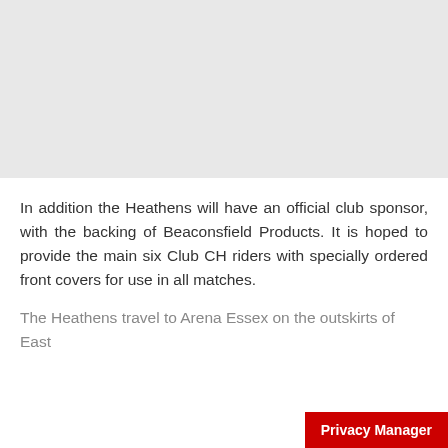[Figure (photo): Gray placeholder image area at the top of the page]
In addition the Heathens will have an official club sponsor, with the backing of Beaconsfield Products. It is hoped to provide the main six Club CH riders with specially ordered front covers for use in all matches.
The Heathens travel to Arena Essex on the outskirts of East